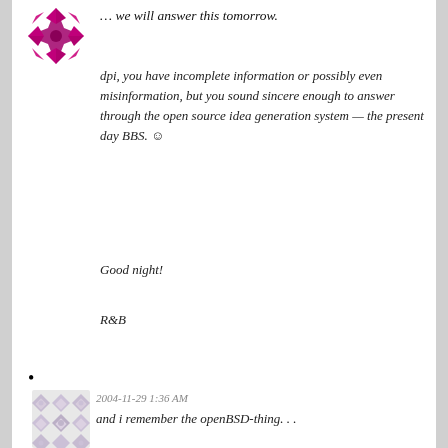… we will answer this tomorrow.
dpi, you have incomplete information or possibly even misinformation, but you sound sincere enough to answer through the open source idea generation system — the present day BBS. ☺
Good night!
R&B
• 2004-11-29 1:36 AM — and i remember the openBSD-thing. . .
Another example can be taken from http://www.phinixi.com/tiki-index.php?page=OpenBSD-Peg+Wrap-up .
• 2004-11-29 2:52 PM — Remember that by buying a Pegasos you're